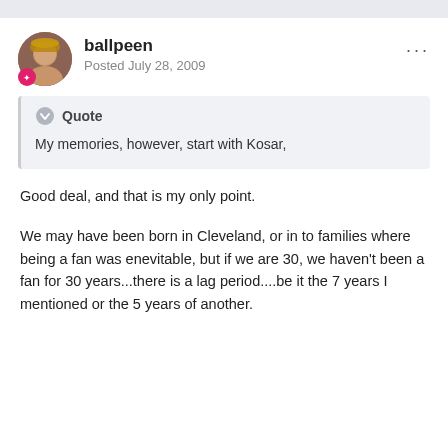ballpeen
Posted July 28, 2009
Quote
My memories, however, start with Kosar,
Good deal, and that is my only point.
We may have been born in Cleveland, or in to families where being a fan was enevitable, but if we are 30, we haven't been a fan for 30 years...there is a lag period....be it the 7 years I mentioned or the 5 years of another.